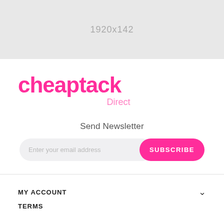[Figure (other): Gray banner placeholder showing dimensions 1920x142]
[Figure (logo): Cheaptack Direct logo — 'cheaptack' in bold hot pink, 'Direct' in lighter pink below]
Send Newsletter
Enter your email address
SUBSCRIBE
MY ACCOUNT
TERMS